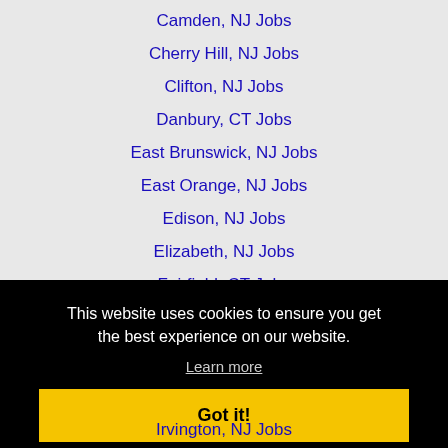Camden, NJ Jobs
Cherry Hill, NJ Jobs
Clifton, NJ Jobs
Danbury, CT Jobs
East Brunswick, NJ Jobs
East Orange, NJ Jobs
Edison, NJ Jobs
Elizabeth, NJ Jobs
Fairfield, CT Jobs
This website uses cookies to ensure you get the best experience on our website.
Learn more
Got it!
Irvington, NJ Jobs